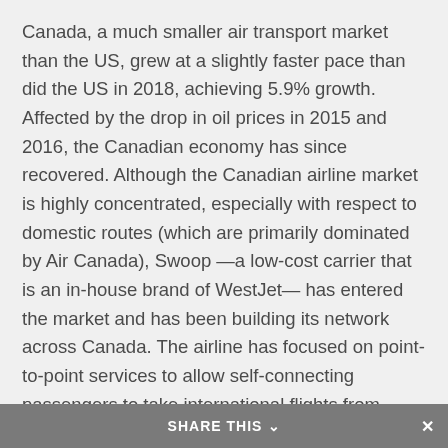Canada, a much smaller air transport market than the US, grew at a slightly faster pace than did the US in 2018, achieving 5.9% growth. Affected by the drop in oil prices in 2015 and 2016, the Canadian economy has since recovered. Although the Canadian airline market is highly concentrated, especially with respect to domestic routes (which are primarily dominated by Air Canada), Swoop —a low-cost carrier that is an in-house brand of WestJet— has entered the market and has been building its network across Canada. The airline has focused on point-to-point services to allow self-connecting passengers to take international flights from major Canadian airports. Among the fastest-growing airports where Swoop operates
SHARE THIS ∨  ×